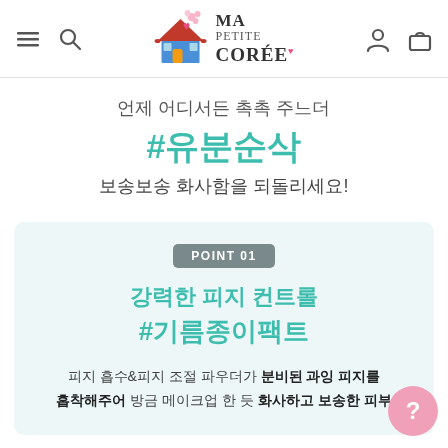Ma Petite Corée – navigation header with logo, menu, search, user account, and cart icons
언제 어디서든 촉촉 주느더
#유분순삭
보송보송 화사함을 되돌리세요!
POINT 01
강력한 피지 컨트롤 #기름종이팩트
피지 흡수&피지 조절 파우더가 분비된 과잉 피지를 흡착해주어 방금 메이크업 한 듯 화사하고 보송한 피부